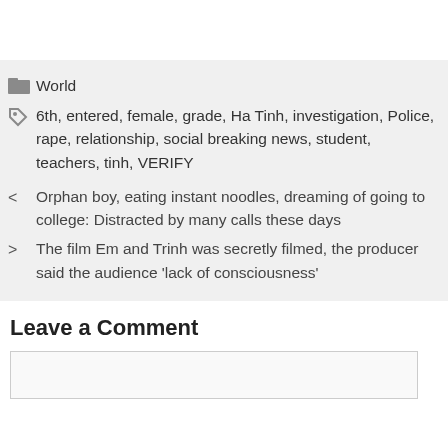World
6th, entered, female, grade, Ha Tinh, investigation, Police, rape, relationship, social breaking news, student, teachers, tinh, VERIFY
Orphan boy, eating instant noodles, dreaming of going to college: Distracted by many calls these days
The film Em and Trinh was secretly filmed, the producer said the audience 'lack of consciousness'
Leave a Comment